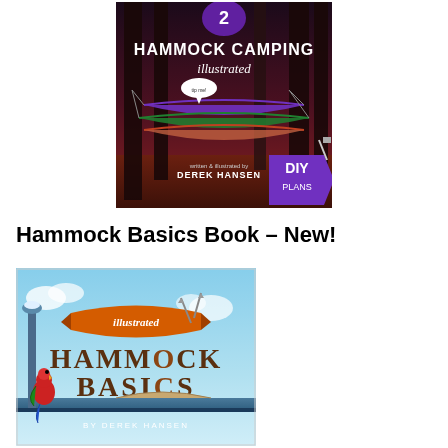[Figure (illustration): Book cover for 'Hammock Camping Illustrated' written and illustrated by Derek Hansen, featuring hammocks strung between trees and a DIY Plans badge]
Hammock Basics Book – New!
[Figure (illustration): Book cover for 'Illustrated Hammock Basics' by Derek Hansen, featuring pirate/tropical theme with a parrot and hammock]